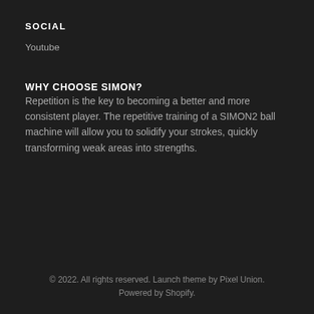SOCIAL
Youtube
WHY CHOOSE SIMON?
Repetition is the key to becoming a better and more consistent player. The repetitive training of a SIMON2 ball machine will allow you to solidify your strokes, quickly transforming weak areas into strengths.
© 2022. All rights reserved. Launch theme by Pixel Union. Powered by Shopify.